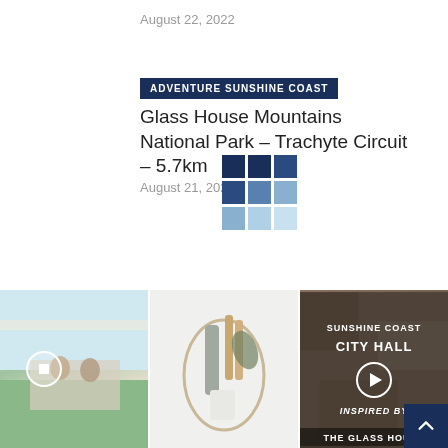August 22, 2022
ADVENTURE SUNSHINE COAST
Glass House Mountains National Park – Trachyte Circuit – 5.7km
August 21, 2022
[Figure (logo): Grid logo with blue squares in gradient pattern]
[Figure (photo): Outdoor dining area/patio with people seated, garden setting]
[Figure (photo): Reusable utensils and eco-friendly items in a mesh bag including metal bottle, wooden cutlery, and cups]
[Figure (photo): Rock texture background with text overlays: SUNSHINE COAST, CITY HALL, INSPIRED BY, THE GLASS HOUSE]